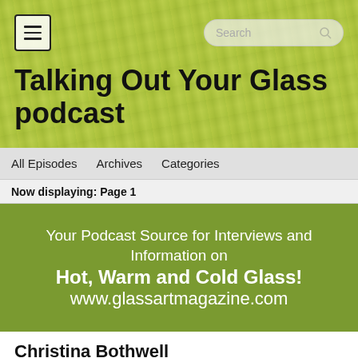[Figure (screenshot): Green textured background banner for podcast website header]
Talking Out Your Glass podcast
All Episodes  Archives  Categories
Now displaying: Page 1
[Figure (infographic): Green promotional banner: Your Podcast Source for Interviews and Information on Hot, Warm and Cold Glass! www.glassartmagazine.com]
Christina Bothwell
Aug 27, 2020